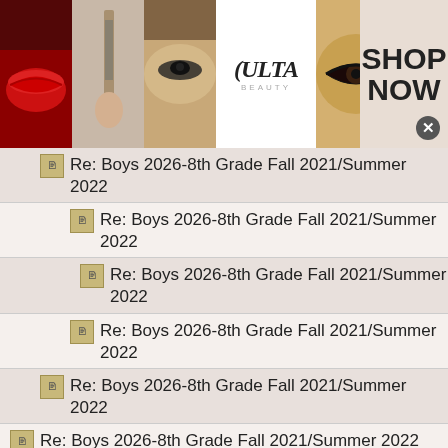[Figure (screenshot): Ulta Beauty advertisement banner at top with makeup photos and SHOP NOW button]
Re: Boys 2026-8th Grade Fall 2021/Summer 2022
Re: Boys 2026-8th Grade Fall 2021/Summer 2022
Re: Boys 2026-8th Grade Fall 2021/Summer 2022
Re: Boys 2026-8th Grade Fall 2021/Summer 2022
Re: Boys 2026-8th Grade Fall 2021/Summer 2022
Re: Boys 2026-8th Grade Fall 2021/Summer 2022
Re: Boys 2026-8th Grade Fall 2021/Summer 2022
[Figure (screenshot): Belk.com advertisement banner at bottom with product thumbnail and arrow button]